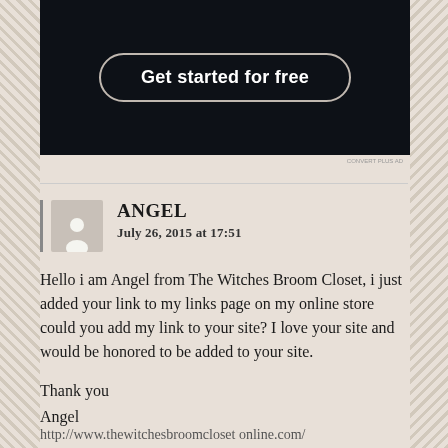[Figure (screenshot): Dark banner with 'Get started for free' CTA button]
ANGEL
July 26, 2015 at 17:51
Hello i am Angel from The Witches Broom Closet, i just added your link to my links page on my online store could you add my link to your site? I love your site and would be honored to be added to your site.
Thank you
Angel
http://www.thewitchesbroomcloset online.com/